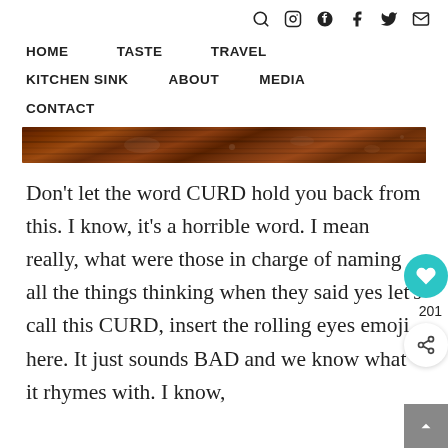🔍 📷 𝗽 𝗳 𝘁 ✉
HOME    TASTE    TRAVEL
KITCHEN SINK    ABOUT    MEDIA
CONTACT
[Figure (photo): Wood grain background image strip, dark brown]
Don't let the word CURD hold you back from this. I know, it's a horrible word. I mean really, what were those in charge of naming all the things thinking when they said yes let's call this CURD, insert the rolling eyes emoji here. It just sounds BAD and we know what it rhymes with. I know,